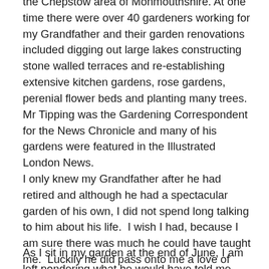the Chepstow area of Monmouthshire. At one time there were over 40 gardeners working for my Grandfather and their garden renovations included digging out large lakes constructing stone walled terraces and re-establishing extensive kitchen gardens, rose gardens, perenial flower beds and planting many trees. Mr Tipping was the Gardening Correspondent for the News Chronicle and many of his gardens were featured in the Illustrated London News.
I only knew my Grandfather after he had retired and although he had a spectacular garden of his own, I did not spend long talking to him about his life. I wish I had, because I am sure there was much he could have taught me. Luckily he did pass onto me a love of gardening.
As I sit in my garden at the end of June, I am left pondering what he would have told me and how much can...